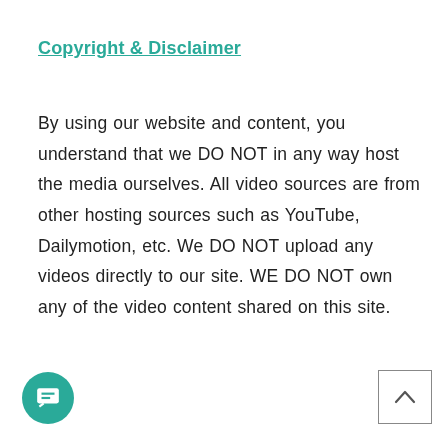Copyright & Disclaimer
By using our website and content, you understand that we DO NOT in any way host the media ourselves. All video sources are from other hosting sources such as YouTube, Dailymotion, etc. We DO NOT upload any videos directly to our site. WE DO NOT own any of the video content shared on this site.